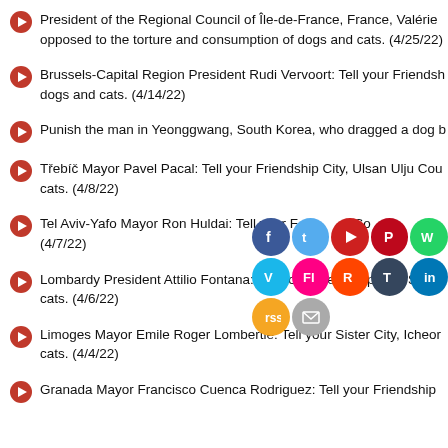President of the Regional Council of Île-de-France, France, Valérie opposed to the torture and consumption of dogs and cats. (4/25/22)
Brussels-Capital Region President Rudi Vervoort: Tell your Friendship dogs and cats. (4/14/22)
Punish the man in Yeonggwang, South Korea, who dragged a dog b
Třebíč Mayor Pavel Pacal: Tell your Friendship City, Ulsan Ulju Cou cats. (4/8/22)
Tel Aviv-Yafo Mayor Ron Huldai: Tell your Friendship City, So (4/7/22)
Lombardy President Attilio Fontana: Tell your Friendship City, Seoul cats. (4/6/22)
Limoges Mayor Emile Roger Lombertie: Tell your Sister City, Icheor cats. (4/4/22)
Granada Mayor Francisco Cuenca Rodriguez: Tell your Friendship (4/2/22)